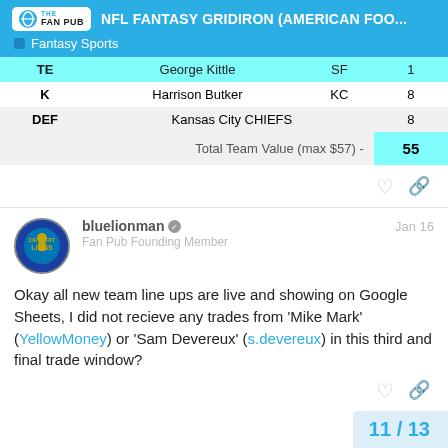NFL FANTASY GRIDIRON (AMERICAN FOO...
|  |  |  |  |
| --- | --- | --- | --- |
| TE | George Kittle | SF | 1 |
| K | Harrison Butker | KC | 8 |
| DEF | Kansas City CHIEFS |  | 8 |
|  | Total Team Value (max $57) - |  | 55 |
bluelionman — Fan Pub Founding Member — Jan 16
Okay all new team line ups are live and showing on Google Sheets, I did not recieve any trades from 'Mike Mark' (YellowMoney) or 'Sam Devereux' (s.devereux) in this third and final trade window?
11 / 13